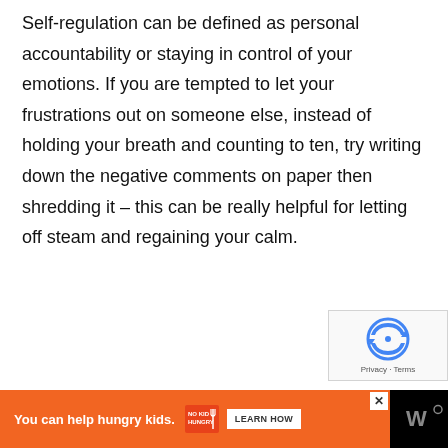Self-regulation can be defined as personal accountability or staying in control of your emotions. If you are tempted to let your frustrations out on someone else, instead of holding your breath and counting to ten, try writing down the negative comments on paper then shredding it – this can be really helpful for letting off steam and regaining your calm.
[Figure (other): reCAPTCHA widget with logo, Privacy and Terms links]
[Figure (other): Advertisement banner: orange background with 'You can help hungry kids.' text, No Kid Hungry logo, Learn How button, close X button, and Wired logo on black background]